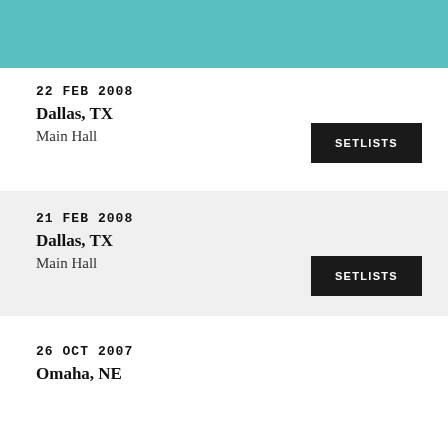22 FEB 2008
Dallas, TX
Main Hall
SETLISTS
21 FEB 2008
Dallas, TX
Main Hall
SETLISTS
26 OCT 2007
Omaha, NE